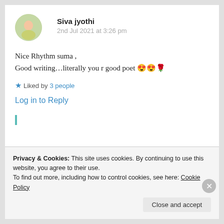[Figure (photo): Circular avatar of Siva jyothi]
Siva jyothi
2nd Jul 2021 at 3:26 pm
Nice Rhythm suma ,
Good writing…literally you r good poet 😍😍🌹
★ Liked by 3 people
Log in to Reply
Privacy & Cookies: This site uses cookies. By continuing to use this website, you agree to their use.
To find out more, including how to control cookies, see here: Cookie Policy
Close and accept